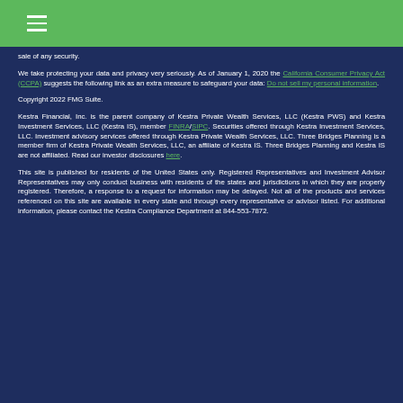Navigation menu (hamburger icon)
sale of any security.
We take protecting your data and privacy very seriously. As of January 1, 2020 the California Consumer Privacy Act (CCPA) suggests the following link as an extra measure to safeguard your data: Do not sell my personal information.
Copyright 2022 FMG Suite.
Kestra Financial, Inc. is the parent company of Kestra Private Wealth Services, LLC (Kestra PWS) and Kestra Investment Services, LLC (Kestra IS), member FINRA/SIPC. Securities offered through Kestra Investment Services, LLC. Investment advisory services offered through Kestra Private Wealth Services, LLC. Three Bridges Planning is a member firm of Kestra Private Wealth Services, LLC, an affiliate of Kestra IS. Three Bridges Planning and Kestra IS are not affiliated. Read our investor disclosures here.
This site is published for residents of the United States only. Registered Representatives and Investment Advisor Representatives may only conduct business with residents of the states and jurisdictions in which they are properly registered. Therefore, a response to a request for information may be delayed. Not all of the products and services referenced on this site are available in every state and through every representative or advisor listed. For additional information, please contact the Kestra Compliance Department at 844-553-7872.